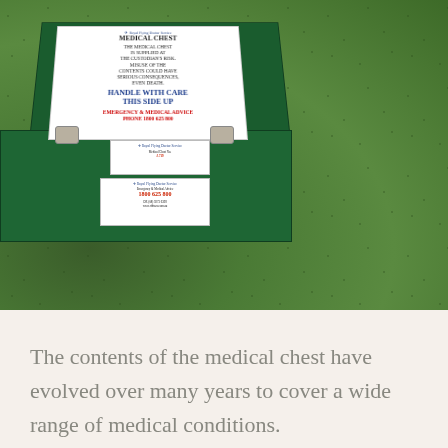[Figure (photo): A green metal medical chest box sitting on grass, with a white label on top reading 'MEDICAL CHEST' with handling and emergency phone instructions. Two metal clasps are visible on the front. A smaller label on the front face shows a phone number 1800 625 800.]
The contents of the medical chest have evolved over many years to cover a wide range of medical conditions.